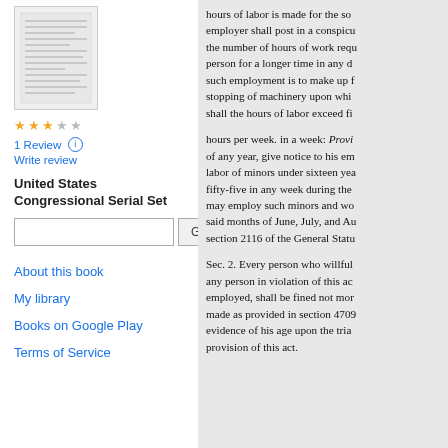[Figure (illustration): Thumbnail image of a document/book page showing lines of text]
1 Review (i)
Write review
United States Congressional Serial Set
Go (search box)
About this book
My library
Books on Google Play
Terms of Service
hours of labor is made for the so... employer shall post in a conspicu... the number of hours of work requ... person for a longer time in any d... such employment is to make up f... stopping of machinery upon whi... shall the hours of labor exceed fi...
hours per week. in a week: Provi... of any year, give notice to his em... labor of minors under sixteen yea... fifty-five in any week during the... may employ such minors and wo... said months of June, July, and Au... section 2116 of the General Statu...
Sec. 2. Every person who willful... any person in violation of this ac... employed, shall be fined not mor... made as provided in section 4709... evidence of his age upon the tria... provision of this act.